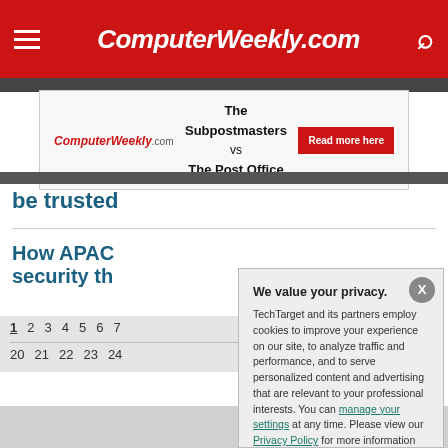ComputerWeekly.com
[Figure (screenshot): Advertisement banner: ComputerWeekly.com logo on left, center text 'The Subpostmasters vs The Post Office', red 'Read more here' button on right]
be trusted
How APAC security th
1 2 3 4 5 6 7 ... 20 21 22 23 24 ...
We value your privacy. TechTarget and its partners employ cookies to improve your experience on our site, to analyze traffic and performance, and to serve personalized content and advertising that are relevant to your professional interests. You can manage your settings at any time. Please view our Privacy Policy for more information
OK  Settings